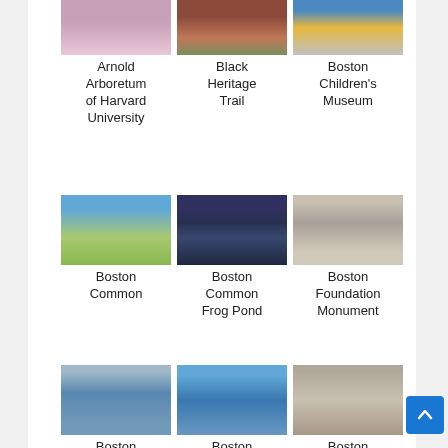[Figure (photo): Arnold Arboretum of Harvard University - cherry blossoms, partially cropped at top]
[Figure (photo): Black Heritage Trail - red brick building with green door]
[Figure (photo): Boston Children's Museum - modern building exterior]
Arnold Arboretum of Harvard University
Black Heritage Trail
Boston Children's Museum
[Figure (photo): Boston Common - equestrian statue under blue sky]
[Figure (photo): Boston Common Frog Pond - trees at night]
[Figure (photo): Boston Foundation Monument - person in red standing near stone wall]
Boston Common
Boston Common Frog Pond
Boston Foundation Monument
[Figure (photo): Boston Harbor Islands State Park - lighthouse over water]
[Figure (photo): Boston Light - lighthouse on rocky island]
[Figure (photo): Boston Massacre Site - circular memorial marker overhead view]
Boston Harbor Islands State Park
Boston Light
Boston Massacre Site